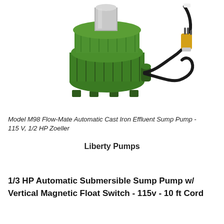[Figure (photo): Green cast iron submersible sump pump with black power cord coiled beside it and a yellow 3-prong plug at the end, on white background.]
Model M98 Flow-Mate Automatic Cast Iron Effluent Sump Pump - 115 V, 1/2 HP Zoeller
Liberty Pumps
1/3 HP Automatic Submersible Sump Pump w/ Vertical Magnetic Float Switch - 115v - 10 ft Cord